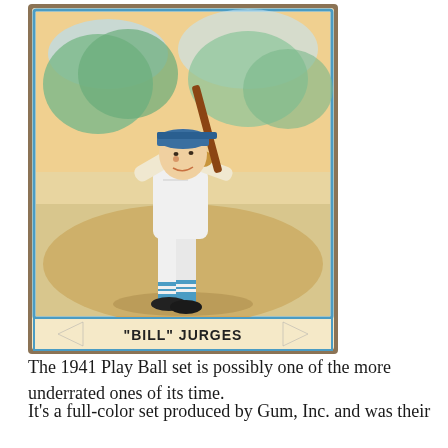[Figure (illustration): A vintage 1941 Play Ball baseball card featuring 'Bill' Jurges, depicted in full color as a batter in a white baseball uniform with blue cap and striped socks, mid-swing pose. The card has a blue border and his name appears in a banner at the bottom reading "BILL" JURGES.]
The 1941 Play Ball set is possibly one of the more underrated ones of its time.
It's a full-color set produced by Gum, Inc. and was their